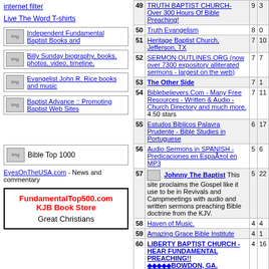internet filter
Live The Word T-shirts
[Figure (other): Independent Fundamental Baptist Books and]
[Figure (other): Billy Sunday biography, books, photos, video, timeline,]
[Figure (other): Evangelist John R. Rice books and music]
[Figure (other): Baptist Advance :: Promoting Baptist Web Sites]
[Figure (other): Bible Top 1000]
EyesOnTheUSA.com - News and commentary
[Figure (other): FundamentalTop500.com KJB Book Store Great Christians advertisement box]
| Rank | Site | Col3 | Col4 |
| --- | --- | --- | --- |
| 49 | TRUTH BAPTIST CHURCH- Over 300 Hours Of Bible Preaching! | 9 | 3 |
| 50 | Truth Evangelism | 8 | 0 |
| 51 | Heritage Baptist Church, Jefferson, TX | 7 | 10 |
| 52 | SERMON OUTLINES.ORG (now over 7300 expository alliterated sermons - largest on the web) | 7 | 7 |
| 53 | The Other Side | 7 | 1 |
| 54 | Biblebelievers.Com - Many Free Resources - Written & Audio - Church Directory and much more. 4.50 stars | 7 | 11 |
| 55 | Estudos Biblicos Palavra Prudente - Bible Studies in Portuguese | 6 | 17 |
| 56 | Audio Sermons in SPANISH - Predicaciones en EspaÃ±ol en MP3 | 5 | 6 |
| 57 | Johnny The Baptist - This site proclaims the Gospel like it use to be in Revivals and Campmeetings with audio and written sermons preaching Bible doctrine from the KJV. | 5 | 22 |
| 58 | Haven of Music. | 4 | 4 |
| 59 | Amazing Grace Bible Institute | 4 | 1 |
| 60 | LIBERTY BAPTIST CHURCH - HEAR FUNDAMENTAL PREACHING!! ◆◆◆◆◆BOWDON, GA. | 4 | 16 |